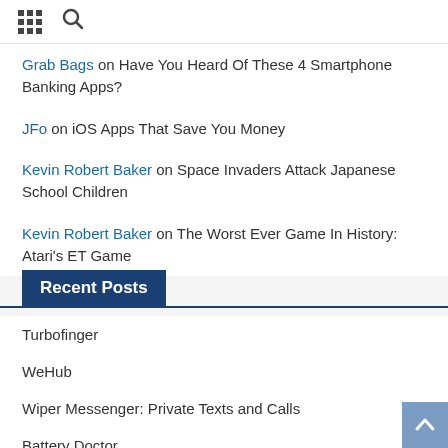[grid icon] [search icon]
Grab Bags on Have You Heard Of These 4 Smartphone Banking Apps?
JFo on iOS Apps That Save You Money
Kevin Robert Baker on Space Invaders Attack Japanese School Children
Kevin Robert Baker on The Worst Ever Game In History: Atari's ET Game
Recent Posts
Turbofinger
WeHub
Wiper Messenger: Private Texts and Calls
Battery Doctor